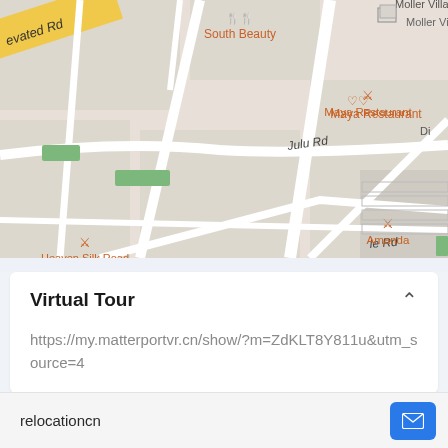[Figure (map): Street map showing Julu Rd area with restaurant markers: South Beauty, Moller Villa, Maya Restaurant, Heaven Silk Road, Amanda, and partial road labels including an elevated road and 'le Rd'. Green rectangles indicating parks. Map has beige/tan road network on light gray background.]
Virtual Tour
https://my.matterportvr.cn/show/?m=ZdKLT8Y811u&utm_source=4
relocationcn